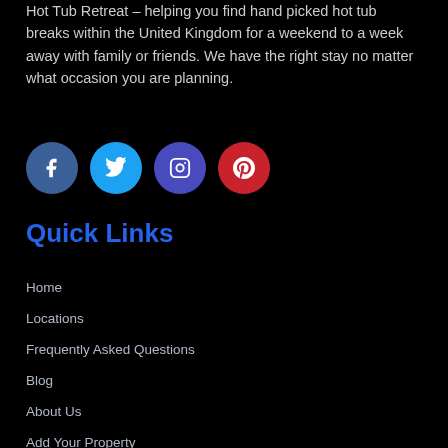Hot Tub Retreat – helping you find hand picked hot tub breaks within the United Kingdom for a weekend to a week away with family or friends. We have the right stay no matter what occasion you are planning.
[Figure (infographic): Four social media icons (Facebook, Twitter, Instagram, Pinterest) as colored circles with white logos]
Quick Links
Home
Locations
Frequently Asked Questions
Blog
About Us
Add Your Property